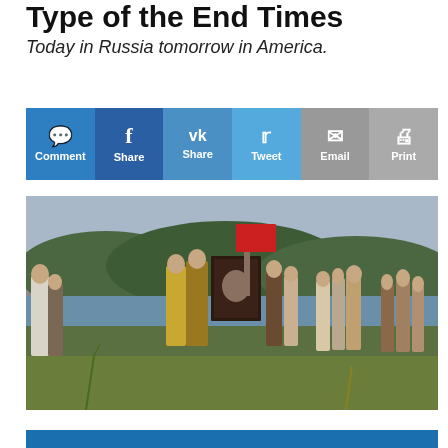Type of the End Times
Today in Russia tomorrow in America.
[Figure (infographic): Social sharing bar with buttons: Comment (blue), Share (dark blue, Facebook), Share (medium blue, VK), Tweet (light blue, Twitter), Email (grey), Print (light grey)]
[Figure (photo): A large religious painting showing an Orthodox Christian procession with clergy in golden vestments carrying an icon, set along a riverbank with hills in the background. People in traditional Russian dress surround the procession.]